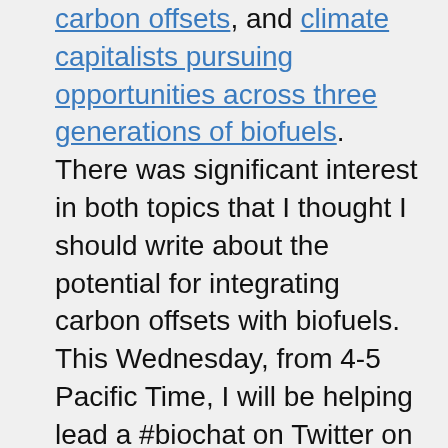carbon offsets, and climate capitalists pursuing opportunities across three generations of biofuels.  There was significant interest in both topics that I thought I should write about the potential for integrating carbon offsets with biofuels.  This Wednesday, from 4-5 Pacific Time, I will be helping lead a #biochat on Twitter on this very topic.
While there is significant debate in the scientific and business community about the sustainability of biofuels, advanced biofuels and even some first generation biofuels have the potential to significantly reduce emissions while providing a